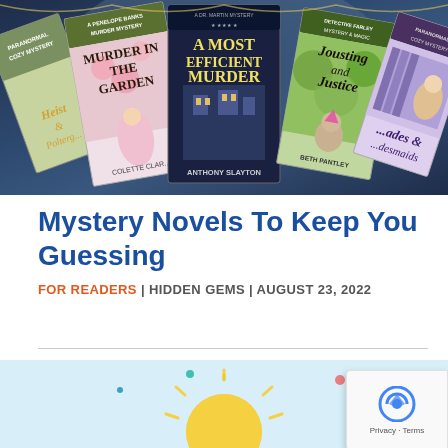[Figure (photo): A promotional banner image showing multiple mystery novel book covers arranged in a fan display against a dark blue/grey gradient background. Visible titles include 'Heist & Polterg...', 'Murder in the Garden' by Colette Clark, 'A Most Efficient Murder' by Anthony Slayton, 'Jousting and Justice' by Beth Pantley, and 'Ades & Desmaids'. The covers feature illustrated characters including women in vintage clothing, a cat with a party hat, and a woman in a library.]
Mystery Novels To Keep You Guessing
FOR READERS | HIDDEN GEMS | AUGUST 23, 2022
[Figure (illustration): A light blue background section with a yellow lightbulb illustration partially visible at the bottom of the page, suggesting a ideas/recommendations theme.]